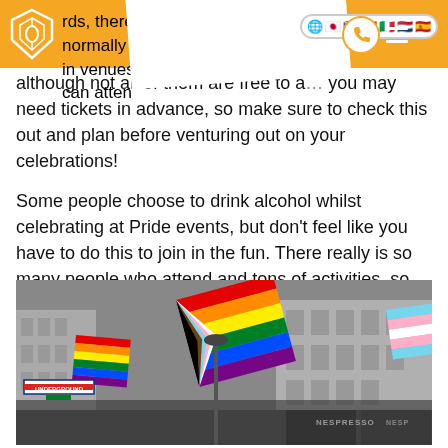rds, there will normally be st... in venues that you can attend
although not all of them are free to a... you may need tickets in advance, so make sure to check this out and plan before venturing out on your celebrations!
Some people choose to drink alcohol whilst celebrating at Pride events, but don’t feel like you have to do this to join in the fun. There really is so many people who attend and tons of activities, so you’ll have the best time however you choose to celebrate!
[Figure (photo): A Pride parade on a city street (appears to be Regent Street, London) with a large crowd waving rainbow and Progress Pride flags. A London Underground sign is visible. Buildings in the background are in black and white while the flags are in colour.]